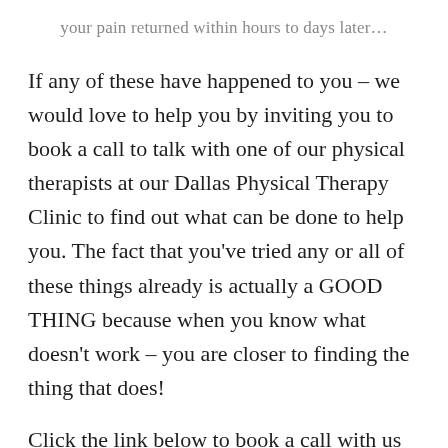your pain returned within hours to days later…
If any of these have happened to you – we would love to help you by inviting you to book a call to talk with one of our physical therapists at our Dallas Physical Therapy Clinic to find out what can be done to help you. The fact that you've tried any or all of these things already is actually a GOOD THING because when you know what doesn't work – you are closer to finding the thing that does!
Click the link below to book a call with us if you would like to get some solid advice given to you over the phone. The phone call is complementary and there is no obligation to book any appointments with us after the call is over. Our goal is to help you make the right decision about what to do next for the best.